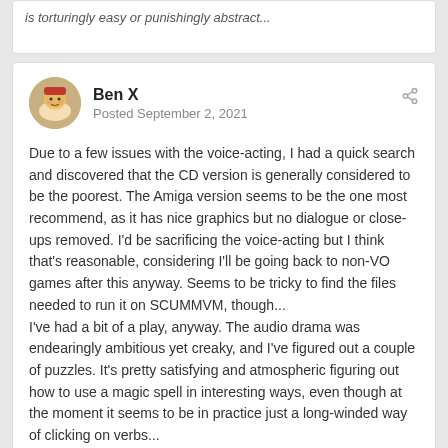is torturingly easy or punishingly abstract...
Ben X
Posted September 2, 2021
Due to a few issues with the voice-acting, I had a quick search and discovered that the CD version is generally considered to be the poorest. The Amiga version seems to be the one most recommend, as it has nice graphics but no dialogue or close-ups removed. I'd be sacrificing the voice-acting but I think that's reasonable, considering I'll be going back to non-VO games after this anyway. Seems to be tricky to find the files needed to run it on SCUMMVM, though...
I've had a bit of a play, anyway. The audio drama was endearingly ambitious yet creaky, and I've figured out a couple of puzzles. It's pretty satisfying and atmospheric figuring out how to use a magic spell in interesting ways, even though at the moment it seems to be in practice just a long-winded way of clicking on verbs...